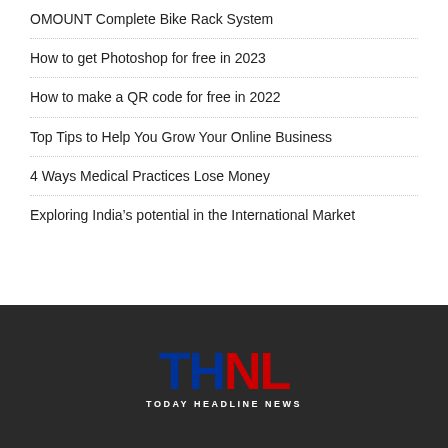OMOUNT Complete Bike Rack System
How to get Photoshop for free in 2023
How to make a QR code for free in 2022
Top Tips to Help You Grow Your Online Business
4 Ways Medical Practices Lose Money
Exploring India’s potential in the International Market
[Figure (logo): THN Today Headline News logo with blue T and H letters and red N and L letters on dark background]